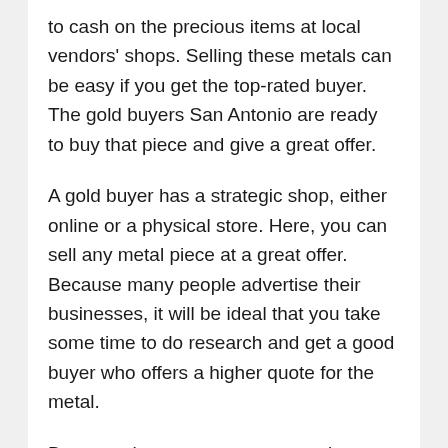to cash on the precious items at local vendors' shops. Selling these metals can be easy if you get the top-rated buyer. The gold buyers San Antonio are ready to buy that piece and give a great offer.
A gold buyer has a strategic shop, either online or a physical store. Here, you can sell any metal piece at a great offer. Because many people advertise their businesses, it will be ideal that you take some time to do research and get a good buyer who offers a higher quote for the metal.
Because there are many companies buying gold and other pieces, it is hard to know the owner to contact. There is a need to exercise caution when selling your precious metal...